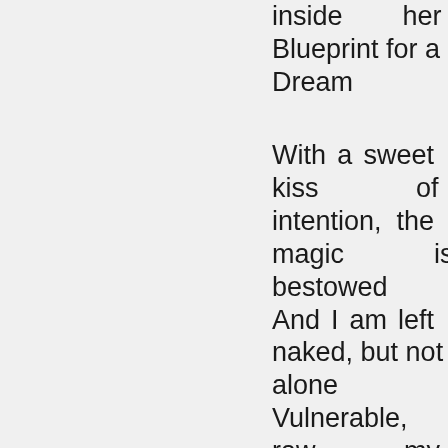inside her Blueprint for a Dream

With a sweet kiss of intention, the magic is bestowed
And I am left naked, but not alone
Vulnerable, raw, my blueprint stays adrift
And the fuel for the fire